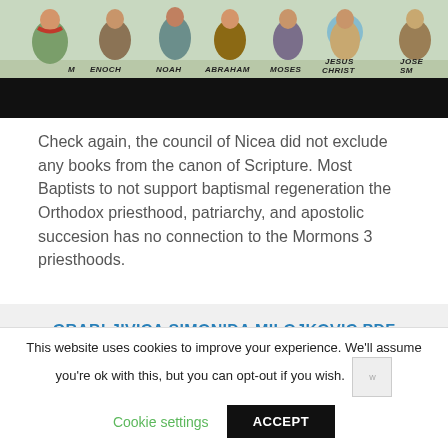[Figure (illustration): Illustrated depiction of biblical/religious figures labeled with names: M (partially visible), ENOCH, NOAH, ABRAHAM, MOSES, JESUS CHRIST, JOSE SM (partially visible). Lower portion of image has a black bar covering part of the illustration.]
Check again, the council of Nicea did not exclude any books from the canon of Scripture. Most Baptists to not support baptismal regeneration the Orthodox priesthood, patriarchy, and apostolic succesion has no connection to the Mormons 3 priesthoods.
GRABLJIVICA SIMONIDA MILOJKOVIC PDF
This website uses cookies to improve your experience. We'll assume you're ok with this, but you can opt-out if you wish.
Cookie settings
ACCEPT